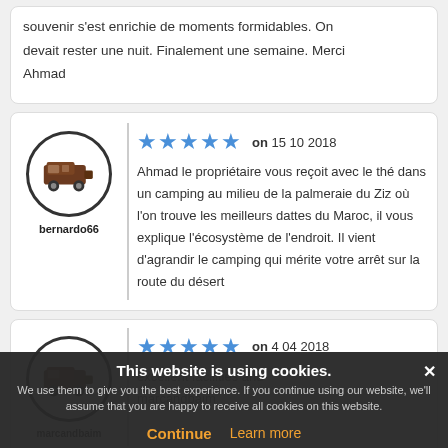souvenir s'est enrichie de moments formidables. On devait rester une nuit. Finalement une semaine. Merci Ahmad
bernardo66 — 5 stars — on 15 10 2018 — Ahmad le propriétaire vous reçoit avec le thé dans un camping au milieu de la palmeraie du Ziz où l'on trouve les meilleurs dattes du Maroc, il vous explique l'écosystème de l'endroit. Il vient d'agrandir le camping qui mérite votre arrêt sur la route du désert
5 stars — on 4 04 2018 — marcandbaim — excellent facilities and marcandbaim
This website is using cookies. We use them to give you the best experience. If you continue using our website, we'll assume that you are happy to receive all cookies on this website. Continue | Learn more